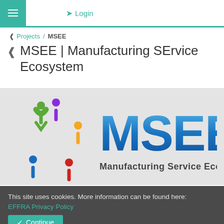≡  ➜ Login
< Projects / MSEE
< MSEE | Manufacturing SErvice Ecosystem
[Figure (logo): MSEE Manufacturing Service Ecosystem logo: circular colorful human figures on the left, large blue 3D letters 'MSEE' on the right with 'Manufacturing Service Ecosystem' subtitle]
Summary
This site uses cookies. More information can be found here: EFFRA Privacy Policy
Continue